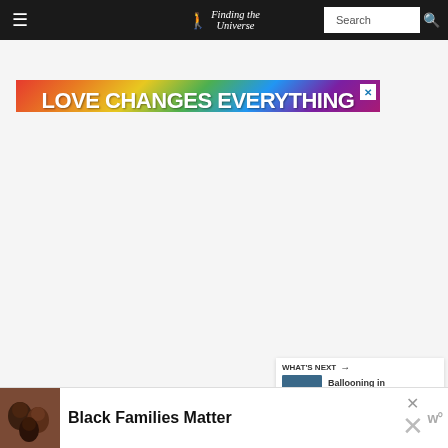Finding the Universe — Navigation bar with search
[Figure (infographic): Rainbow-gradient advertisement banner with text LOVE CHANGES EVERYTHING and subtitle LOVE COMPASSION CHARITY BELONGING]
[Figure (other): Large white/light grey blank content area]
[Figure (other): Heart icon floating action button (blue circle)]
[Figure (other): Share icon floating action button (white circle with shadow)]
[Figure (other): What's Next panel showing Ballooning in Spain over t... with a landscape photo thumbnail]
[Figure (infographic): Bottom advertisement: Black Families Matter with a family photo on the left]